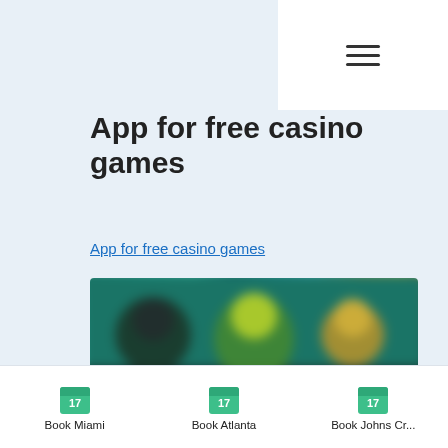☰ (hamburger menu icon)
App for free casino games
App for free casino games
[Figure (screenshot): Blurred screenshot of a casino games app showing colorful animated characters and game thumbnails.]
Book Miami  Book Atlanta  Book Johns Cr...